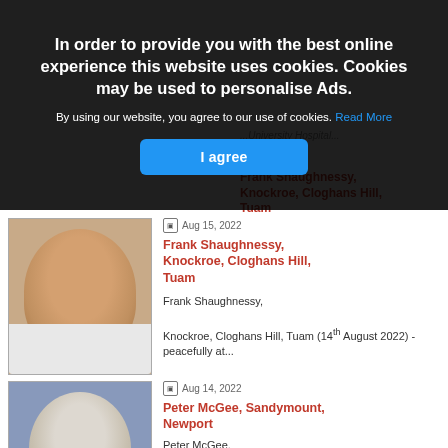In order to provide you with the best online experience this website uses cookies. Cookies may be used to personalise Ads.
By using our website, you agree to our use of cookies. Read More
I agree
[Figure (photo): Photograph of Frank Shaughnessy, an elderly man with grey hair]
Aug 15, 2022
Frank Shaughnessy, Knockroe, Cloghans Hill, Tuam
Frank Shaughnessy,

Knockroe, Cloghans Hill, Tuam (14th August 2022) - peacefully at...
[Figure (photo): Photograph of Peter McGee, an elderly man wearing a blue and black sweater with medals, red collar]
Aug 14, 2022
Peter McGee, Sandymount, Newport
Peter McGee,

Sandymount, Newport.